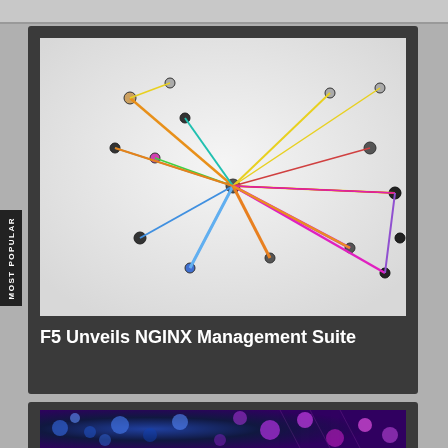[Figure (photo): Network of colorful threads (orange, cyan, pink, yellow, green, red) connecting multiple pins/nodes on a light gray surface, shot from above at a slight angle]
F5 Unveils NGINX Management Suite
[Figure (photo): Colorful bokeh lights of blue and purple/pink tones, appears to be LED or fiber-optic lights out of focus]